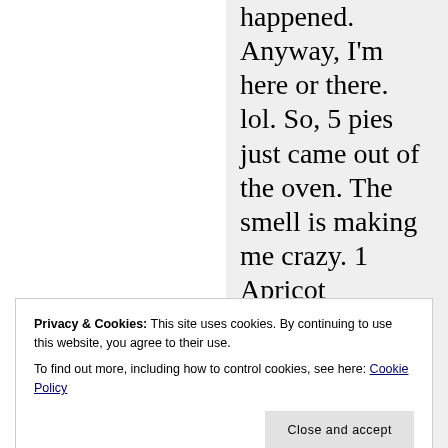happened. Anyway, I'm here or there. lol. So, 5 pies just came out of the oven. The smell is making me crazy. 1 Apricot
Privacy & Cookies: This site uses cookies. By continuing to use this website, you agree to their use.
To find out more, including how to control cookies, see here: Cookie Policy
Close and accept
large